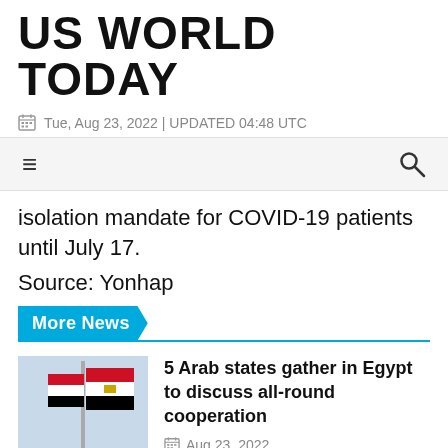US WORLD TODAY
Tue, Aug 23, 2022 | UPDATED 04:48 UTC
isolation mandate for COVID-19 patients until July 17.
Source: Yonhap
More News
[Figure (photo): Egyptian flags on flagpoles against a light blue sky]
5 Arab states gather in Egypt to discuss all-round cooperation
Aug 23, 2022